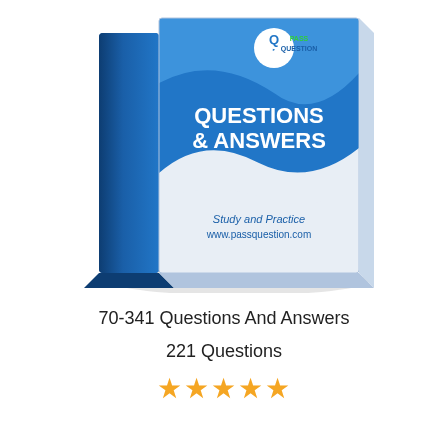[Figure (illustration): 3D book graphic showing 'PASS QUESTION' on the spine and 'QUESTIONS & ANSWERS — Study and Practice www.passquestion.com' on the cover, with a Pass Question logo at the top]
70-341 Questions And Answers
221 Questions
[Figure (other): Five orange/gold star rating icons]